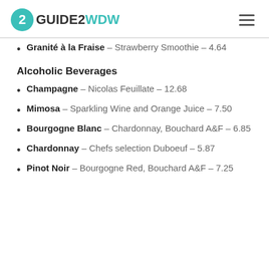GUIDE2WDW
Granité à la Fraise – Strawberry Smoothie – 4.64
Alcoholic Beverages
Champagne – Nicolas Feuillate – 12.68
Mimosa – Sparkling Wine and Orange Juice – 7.50
Bourgogne Blanc – Chardonnay, Bouchard A&F – 6.85
Chardonnay – Chefs selection Duboeuf – 5.87
Pinot Noir – Bourgogne Red, Bouchard A&F – 7.25